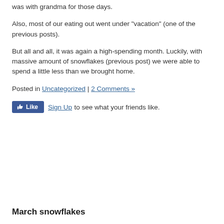was with grandma for those days.
Also, most of our eating out went under "vacation" (one of the previous posts).
But all and all, it was again a high-spending month. Luckily, with massive amount of snowflakes (previous post) we were able to spend a little less than we brought home.
Posted in Uncategorized | 2 Comments »
[Figure (screenshot): Facebook Like button widget with Sign Up link and text 'to see what your friends like.']
March snowflakes